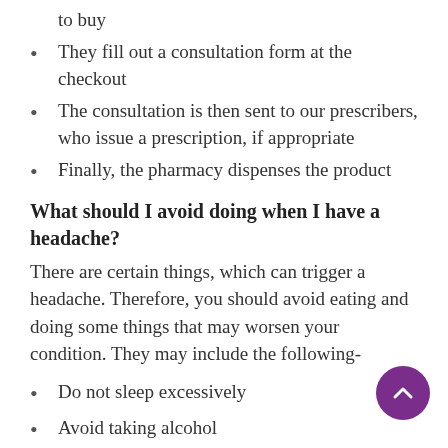to buy
They fill out a consultation form at the checkout
The consultation is then sent to our prescribers, who issue a prescription, if appropriate
Finally, the pharmacy dispenses the product
What should I avoid doing when I have a headache?
There are certain things, which can trigger a headache. Therefore, you should avoid eating and doing some things that may worsen your condition. They may include the following-
Do not sleep excessively
Avoid taking alcohol
Do not look at a screen for long; it may cause tension on your eyes muscles
Avoid skipping your meals; people miss their meals while doing work, or when they do not feel like eating something. However, you should not do that; it may worsen your condition